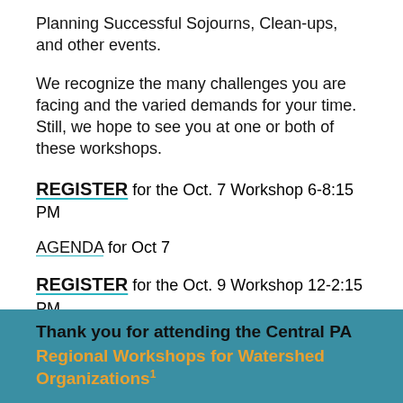Planning Successful Sojourns, Clean-ups, and other events.
We recognize the many challenges you are facing and the varied demands for your time. Still, we hope to see you at one or both of these workshops.
REGISTER for the Oct. 7 Workshop 6-8:15 PM
AGENDA for Oct 7
REGISTER for the Oct. 9 Workshop 12-2:15 PM
AGENDA for Oct 9
Thank you for attending the Central PA Regional Workshops for Watershed Organizations